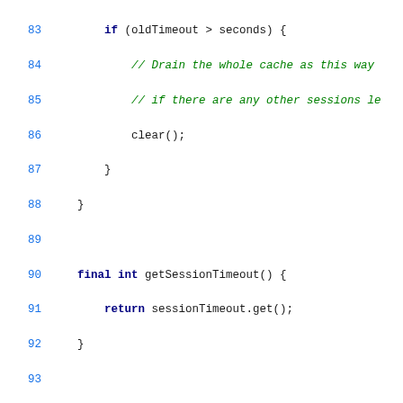[Figure (screenshot): Java source code snippet showing lines 83-110 with syntax highlighting. Keywords in bold blue/navy, comments in green italic, Javadoc comments in red italic, code in monospace.]